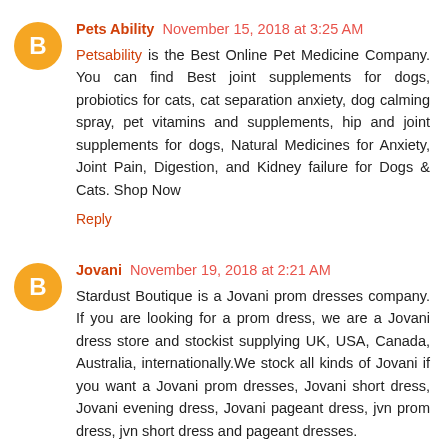Pets Ability November 15, 2018 at 3:25 AM
Petsability is the Best Online Pet Medicine Company. You can find Best joint supplements for dogs, probiotics for cats, cat separation anxiety, dog calming spray, pet vitamins and supplements, hip and joint supplements for dogs, Natural Medicines for Anxiety, Joint Pain, Digestion, and Kidney failure for Dogs & Cats. Shop Now
Reply
Jovani November 19, 2018 at 2:21 AM
Stardust Boutique is a Jovani prom dresses company. If you are looking for a prom dress, we are a Jovani dress store and stockist supplying UK, USA, Canada, Australia, internationally.We stock all kinds of Jovani if you want a Jovani prom dresses, Jovani short dress, Jovani evening dress, Jovani pageant dress, jvn prom dress, jvn short dress and pageant dresses.
Reply